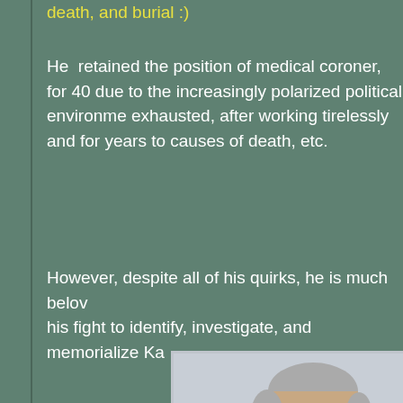death, and burial :)
He  retained the position of medical coroner, for 40 due to the increasingly polarized political environme exhausted, after working tirelessly and for years to causes of death, etc.
However, despite all of his quirks, he is much belov his fight to identify, investigate, and memorialize Ka
[Figure (photo): Portrait photo of an older man with gray hair, viewed from the side/front, against a light blue-gray background, appearing to gesture with his hand.]